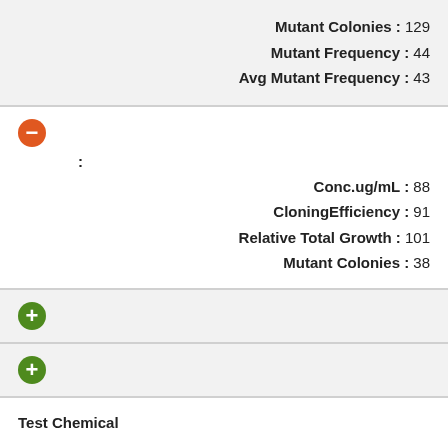Mutant Colonies : 129
Mutant Frequency : 44
Avg Mutant Frequency : 43
[Figure (other): Orange minus button (collapse control)]
:
Conc.ug/mL : 88
CloningEfficiency : 91
Relative Total Growth : 101
Mutant Colonies : 38
[Figure (other): Green plus button (expand control)]
[Figure (other): Green plus button (expand control)]
Test Chemical